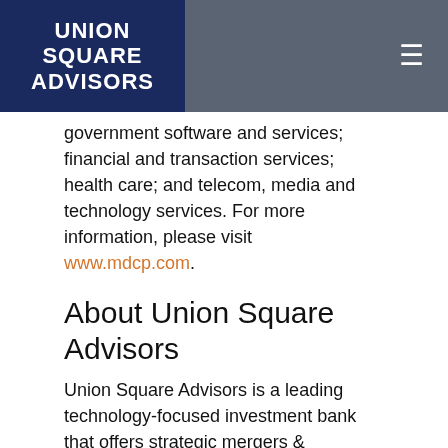UNION SQUARE ADVISORS
government software and services; financial and transaction services; health care; and telecom, media and technology services. For more information, please visit www.mdcp.com.
About Union Square Advisors
Union Square Advisors is a leading technology-focused investment bank that offers strategic mergers & acquisitions advice and execution, agented private capital financing, and debt capital markets advisory services. Founded in 2007, with offices in San Francisco and New York, Union Square Advisors works with leading public and private technology companies, private equity, venture capital, and family offices. Our expertise spans many aspects of the technology landscape, including Enterprise Software and Infrastructure, FinTech, Healthcare IT,